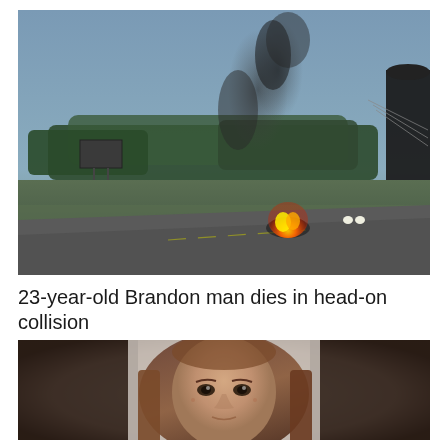[Figure (photo): Outdoor scene at dusk showing a burning vehicle on a highway with dark smoke rising into the sky. Trees line the background, a billboard sign is visible on the left, power lines on the right, and a dark silo or structure at the far right edge.]
23-year-old Brandon man dies in head-on collision
[Figure (photo): Close-up portrait photo of a woman with long brown hair, looking directly at the camera against a light grey background with dark blurred edges.]